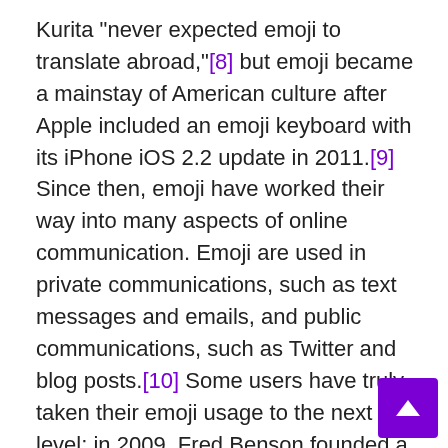Kurita "never expected emoji to translate abroad,"[8] but emoji became a mainstay of American culture after Apple included an emoji keyboard with its iPhone iOS 2.2 update in 2011.[9] Since then, emoji have worked their way into many aspects of online communication. Emoji are used in private communications, such as text messages and emails, and public communications, such as Twitter and blog posts.[10] Some users have truly taken their emoji usage to the next level; in 2009, Fred Benson founded a Kickstarter campaign to translate Herman Melville's Moby Dick into an all-emoji version, titled Emoji Dick.[11]

In their short life, emoji have had little contact